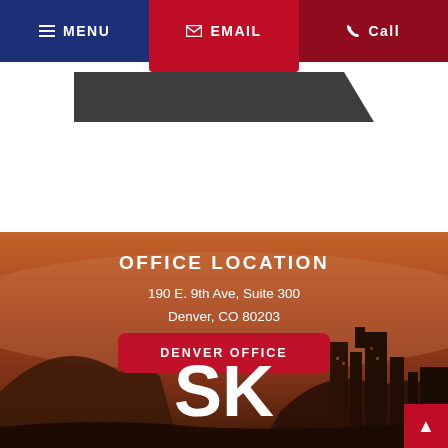MENU   EMAIL   Call
[Figure (screenshot): Dark rounded tab/button element below nav bar]
[Figure (photo): City skyline at sunset/dusk with warm orange-brown tones, Denver cityscape silhouette in background]
OFFICE LOCATION
190 E. 9th Ave, Suite 300
Denver, CO 80203
DENVER OFFICE
[Figure (logo): SK logo in white letters at the bottom of the page]
^